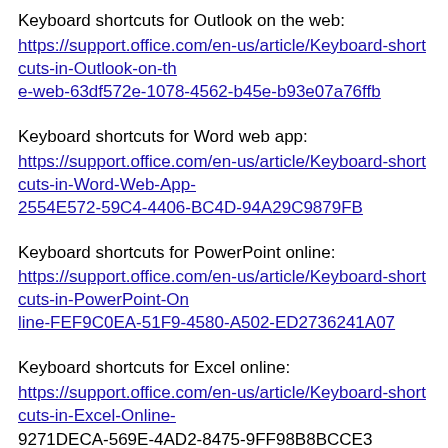Keyboard shortcuts for Outlook on the web:
https://support.office.com/en-us/article/Keyboard-shortcuts-in-Outlook-on-th
e-web-63df572e-1078-4562-b45e-b93e07a76ffb
Keyboard shortcuts for Word web app:
https://support.office.com/en-us/article/Keyboard-shortcuts-in-Word-Web-App-
2554E572-59C4-4406-BC4D-94A29C9879FB
Keyboard shortcuts for PowerPoint online:
https://support.office.com/en-us/article/Keyboard-shortcuts-in-PowerPoint-On
line-FEF9C0EA-51F9-4580-A502-ED2736241A07
Keyboard shortcuts for Excel online:
https://support.office.com/en-us/article/Keyboard-shortcuts-in-Excel-Online-
9271DECA-569E-4AD2-8475-9FF98B8BCCE3